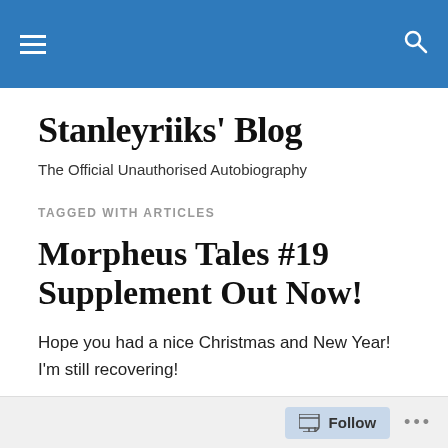Stanleyriiks' Blog — navigation header bar
Stanleyriiks' Blog
The Official Unauthorised Autobiography
TAGGED WITH ARTICLES
Morpheus Tales #19 Supplement Out Now!
Hope you had a nice Christmas and New Year! I'm still recovering!
If you're still in the mood for some Christmas Spirit (the
Follow